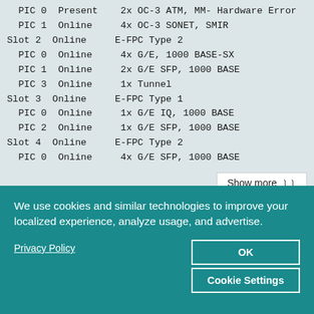PIC 0  Present    2x OC-3 ATM, MM- Hardware Error
  PIC 1  Online     4x OC-3 SONET, SMIR
Slot 2  Online     E-FPC Type 2
  PIC 0  Online     4x G/E, 1000 BASE-SX
  PIC 1  Online     2x G/E SFP, 1000 BASE
  PIC 3  Online     1x Tunnel
Slot 3  Online     E-FPC Type 1
  PIC 0  Online     1x G/E IQ, 1000 BASE
  PIC 2  Online     1x G/E SFP, 1000 BASE
Slot 4  Online     E-FPC Type 2
  PIC 0  Online     4x G/E SFP, 1000 BASE
Show more
We use cookies and similar technologies to improve your localized experience, analyze usage, and advertise.
Privacy Policy
OK
Cookie Settings